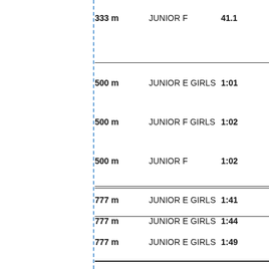| Distance | Category | Time |
| --- | --- | --- |
| 333 m | JUNIOR F | 41.1... |
| 500 m | JUNIOR E GIRLS | 1:01... |
| 500 m | JUNIOR F GIRLS | 1:02... |
| 500 m | JUNIOR F | 1:02... |
| 777 m | JUNIOR E GIRLS | 1:41... |
| 777 m | JUNIOR E GIRLS | 1:44... |
| 777 m | JUNIOR E GIRLS | 1:49... |
Ov...
| Place | Category | Result |
| --- | --- | --- |
| 1. Place | JUNIOR E GIRLS | P... |
| 2. Place | JUNIOR F | A... 09... |